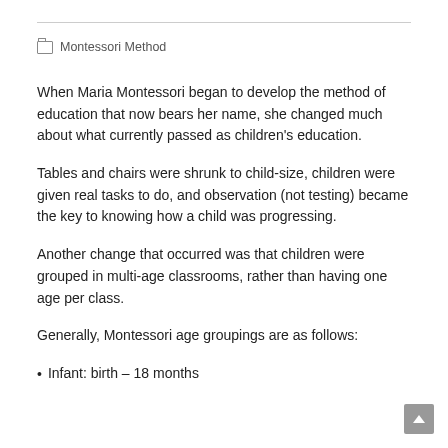Montessori Method
When Maria Montessori began to develop the method of education that now bears her name, she changed much about what currently passed as children's education.
Tables and chairs were shrunk to child-size, children were given real tasks to do, and observation (not testing) became the key to knowing how a child was progressing.
Another change that occurred was that children were grouped in multi-age classrooms, rather than having one age per class.
Generally, Montessori age groupings are as follows:
Infant: birth – 18 months